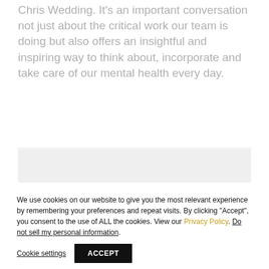Chris Wedding. It's an important conversation not just about the critical work our team is doing but also offers an insightful and inspiring way to think about, incorporate and take care of our mental health every day.
We use cookies on our website to give you the most relevant experience by remembering your preferences and repeat visits. By clicking "Accept", you consent to the use of ALL the cookies. View our Privacy Policy. Do not sell my personal information.
Cookie settings
ACCEPT